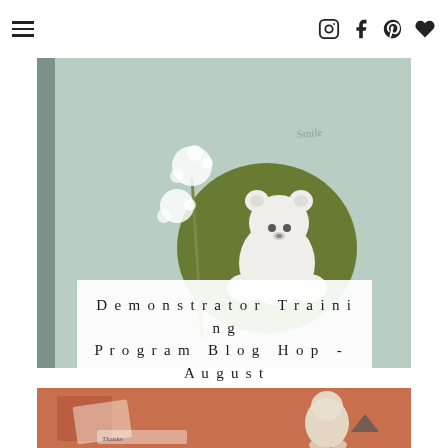Navigation header with hamburger menu and social icons (Instagram, Facebook, Pinterest, Heart/Favorite)
[Figure (photo): Close-up photo of a handmade card with mint/sage green background featuring a white fluffy bear or animal figure on a dark olive green circular background, with white pom-pom flowers on a stem. A white semi-transparent overlay box contains the blog post title text.]
Demonstrator Training Program Blog Hop - August 2022
[Figure (photo): Partial view of a second handmade card with coral/terracotta orange background featuring a cartoon girl or animal figure with gray/white coloring, along with other card elements visible. A back-to-top arrow chevron icon is visible in the lower right.]